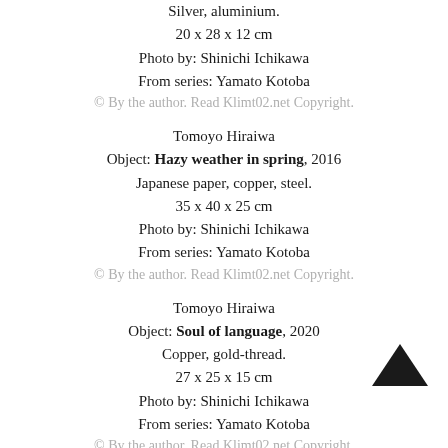Silver, aluminium.
20 x 28 x 12 cm
Photo by: Shinichi Ichikawa
From series: Yamato Kotoba
© By the author. Read Klimt02.net Copyright.
Tomoyo Hiraiwa
Object: Hazy weather in spring, 2016
Japanese paper, copper, steel.
35 x 40 x 25 cm
Photo by: Shinichi Ichikawa
From series: Yamato Kotoba
© By the author. Read Klimt02.net Copyright.
Tomoyo Hiraiwa
Object: Soul of language, 2020
Copper, gold-thread.
27 x 25 x 15 cm
Photo by: Shinichi Ichikawa
From series: Yamato Kotoba
© By the author. Read Klimt02.net Copyright.
Tomoyo Hiraiwa
Neckpiece: Blue Zone, 2017
Aluminium
© By the author. Read Klimt02.net Copyright.
Tomoyo Hiraiwa
Neckpiece: Blue Zone, 2017